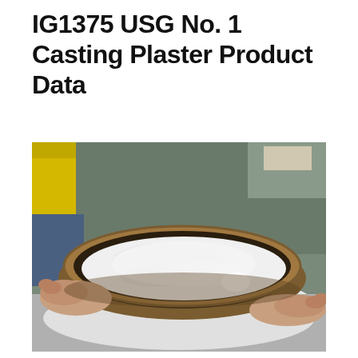IG1375 USG No. 1 Casting Plaster Product Data
[Figure (photo): A person holding a wooden sieve/bowl filled with white casting plaster powder. In the background are various containers and supplies. The image shows the fine white powdery texture of the casting plaster product.]